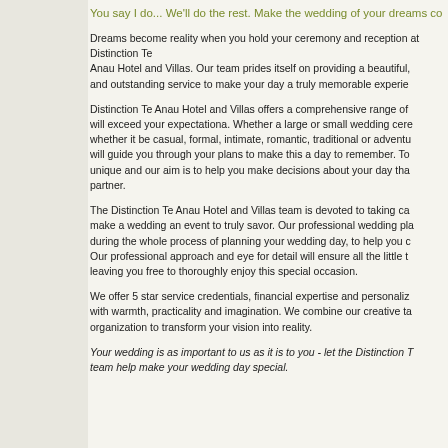You say I do... We'll do the rest. Make the wedding of your dreams co
Dreams become reality when you hold your ceremony and reception at Distinction Te Anau Hotel and Villas. Our team prides itself on providing a beautiful, and outstanding service to make your day a truly memorable experie
Distinction Te Anau Hotel and Villas offers a comprehensive range of services that will exceed your expectationa. Whether a large or small wedding ceremony and whether it be casual, formal, intimate, romantic, traditional or adventu will guide you through your plans to make this a day to remember. To unique and our aim is to help you make decisions about your day tha partner.
The Distinction Te Anau Hotel and Villas team is devoted to taking ca make a wedding an event to truly savor. Our professional wedding pla during the whole process of planning your wedding day, to help you c Our professional approach and eye for detail will ensure all the little t leaving you free to thoroughly enjoy this special occasion.
We offer 5 star service credentials, financial expertise and personaliz with warmth, practicality and imagination. We combine our creative ta organization to transform your vision into reality.
Your wedding is as important to us as it is to you - let the Distinction T team help make your wedding day special.